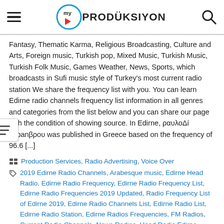My Prodüksiyon
Fantasy, Thematic Karma, Religious Broadcasting, Culture and Arts, Foreign music, Turkish pop, Mixed Music, Turkish Music, Turkish Folk Music, Games Weather, News, Sports, which broadcasts in Sufi music style of Turkey's most current radio station We share the frequency list with you. You can learn Edirne radio channels frequency list information in all genres and categories from the list below and you can share our page with the condition of showing source. In Edirne, ραυλοΔί yapanβρου was published in Greece based on the frequency of 96.6 [...]
Production Services, Radio Advertising, Voice Over
2019 Edirne Radio Channels, Arabesque music, Edirne Head Radio, Edirne Radio Frequency, Edirne Radio Frequency List, Edirne Radio Frequencies 2019 Updated, Radio Frequency List of Edirne 2019, Edirne Radio Channels List, Edirne Radio List, Edirne Radio Station, Edirne Radios Frequencies, FM Radios, Current Radio Channels, News Radios, Head Radio Edirne, Head Radio Edirne Frequency, Mixed Music, Radio Frequency Information, List of Radio Stations, Radio Channels List, Turkish Pop Music, Foreign music